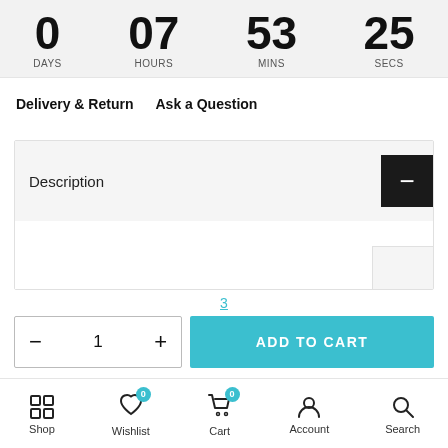0 DAYS  07 HOURS  53 MINS  25 SECS
Delivery & Return   Ask a Question
Description
3
− 1 +
ADD TO CART
Shop  Wishlist  Cart  Account  Search